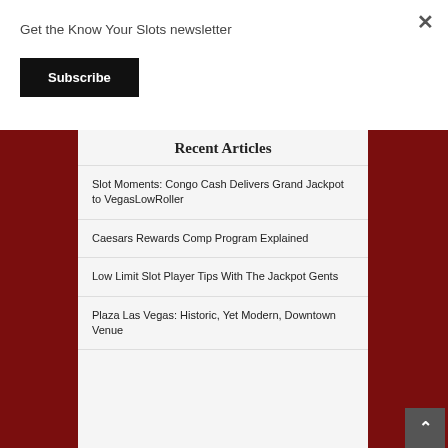Get the Know Your Slots newsletter
Subscribe
Recent Articles
Slot Moments: Congo Cash Delivers Grand Jackpot to VegasLowRoller
Caesars Rewards Comp Program Explained
Low Limit Slot Player Tips With The Jackpot Gents
Plaza Las Vegas: Historic, Yet Modern, Downtown Venue